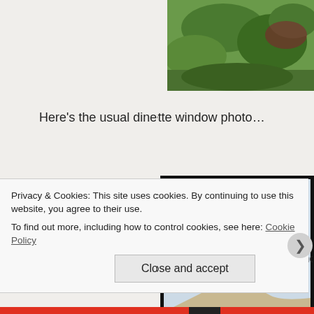[Figure (photo): Outdoor garden/landscape photo showing green vegetation and ground cover, partially cropped at top-right corner of page]
Here's the usual dinette window photo…
[Figure (photo): Photo of view through a window showing leafy tree branches and garden path outside, with dark window frame border]
Yesterday morning I discovered the battery in the Bronco had gone d
Privacy & Cookies: This site uses cookies. By continuing to use this website, you agree to their use.
To find out more, including how to control cookies, see here: Cookie Policy
Close and accept